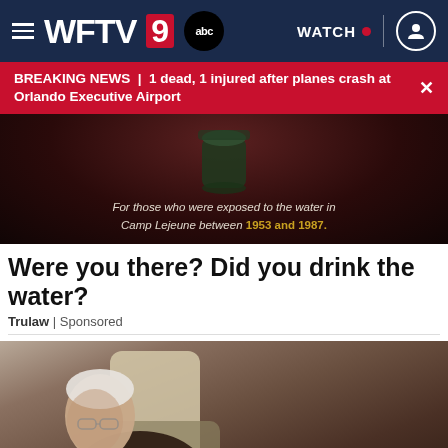WFTV 9 abc | WATCH
BREAKING NEWS | 1 dead, 1 injured after planes crash at Orlando Executive Airport
[Figure (photo): Dark advertisement image with a jar/vase in a red-lit background. Text reads: 'For those who were exposed to the water in Camp Lejeune between 1953 and 1987.']
Were you there? Did you drink the water?
Trulaw | Sponsored
[Figure (photo): Advertisement photo of an elderly man with glasses sleeping or resting in a chair, head tilted to the side. A close button (X) appears in the lower left corner.]